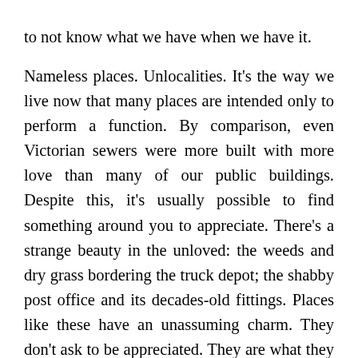to not know what we have when we have it.

Nameless places. Unlocalities. It's the way we live now that many places are intended only to perform a function. By comparison, even Victorian sewers were more built with more love than many of our public buildings. Despite this, it's usually possible to find something around you to appreciate. There's a strange beauty in the unloved: the weeds and dry grass bordering the truck depot; the shabby post office and its decades-old fittings. Places like these have an unassuming charm. They don't ask to be appreciated. They are what they are.